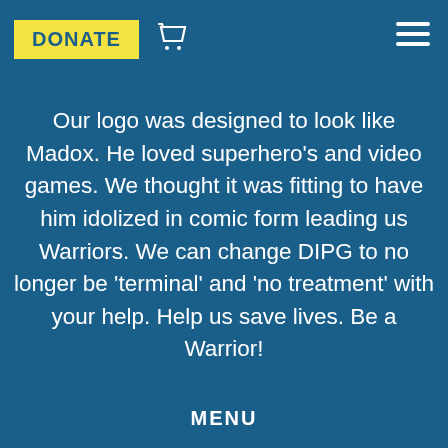DONATE [cart icon] [menu icon]
Our logo was designed to look like Madox. He loved superhero’s and video games. We thought it was fitting to have him idolized in comic form leading us Warriors. We can change DIPG to no longer be ‘terminal’ and ‘no treatment’ with your help. Help us save lives. Be a Warrior!
MENU